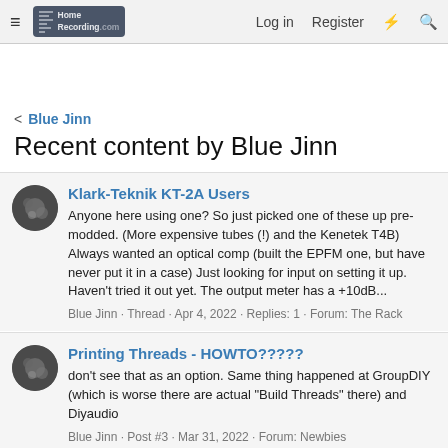HomeRecording.com — Log in   Register
< Blue Jinn
Recent content by Blue Jinn
Klark-Teknik KT-2A Users
Anyone here using one? So just picked one of these up pre-modded. (More expensive tubes (!) and the Kenetek T4B) Always wanted an optical comp (built the EPFM one, but have never put it in a case) Just looking for input on setting it up. Haven't tried it out yet. The output meter has a +10dB...
Blue Jinn · Thread · Apr 4, 2022 · Replies: 1 · Forum: The Rack
Printing Threads - HOWTO?????
don't see that as an option. Same thing happened at GroupDIY (which is worse there are actual "Build Threads" there) and Diyaudio
Blue Jinn · Post #3 · Mar 31, 2022 · Forum: Newbies